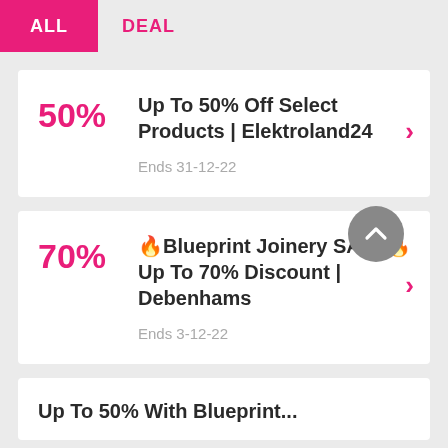ALL  DEAL
50%  Up To 50% Off Select Products | Elektroland24  Ends 31-12-22
70%  🔥Blueprint Joinery SALE🔥 Up To 70% Discount | Debenhams  Ends 3-12-22
Up To 50% With Blueprint...